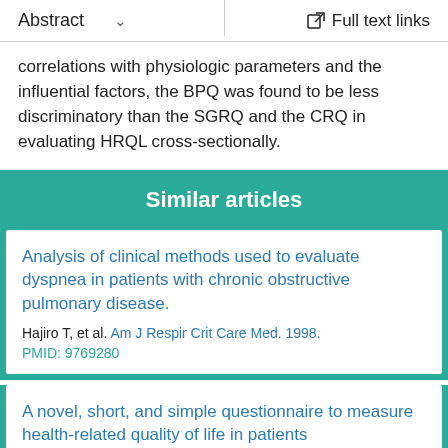Abstract  ∨   Full text links
correlations with physiologic parameters and the influential factors, the BPQ was found to be less discriminatory than the SGRQ and the CRQ in evaluating HRQL cross-sectionally.
Similar articles
Analysis of clinical methods used to evaluate dyspnea in patients with chronic obstructive pulmonary disease.
Hajiro T, et al. Am J Respir Crit Care Med. 1998.
PMID: 9769280
A novel, short, and simple questionnaire to measure health-related quality of life in patients